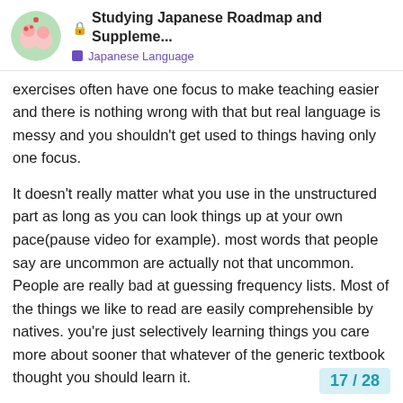Studying Japanese Roadmap and Suppleme... | Japanese Language
exercises often have one focus to make teaching easier and there is nothing wrong with that but real language is messy and you shouldn't get used to things having only one focus.
It doesn't really matter what you use in the unstructured part as long as you can look things up at your own pace(pause video for example). most words that people say are uncommon are actually not that uncommon. People are really bad at guessing frequency lists. Most of the things we like to read are easily comprehensible by natives. you're just selectively learning things you care more about sooner that whatever of the generic textbook thought you should learn it.
Structured that are unique to specific genres aren't that frequent even in those genres so don't really worry too much about it. It's generally good to remember that some words are used in the context you're seeing. if you're watching a show about pirates you shouldn't copy them word by word when talking to a normal person.
17 / 28